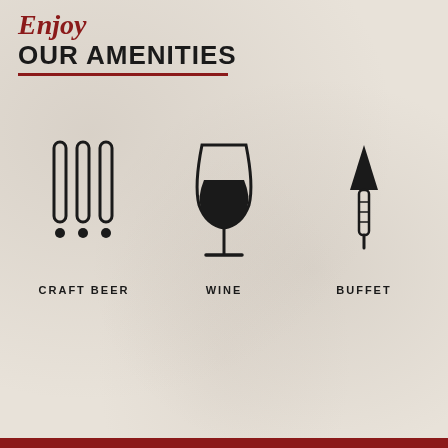Enjoy
OUR AMENITIES
[Figure (illustration): Three beer tap handles icon, a wine glass icon, and a cheese/buffet knife icon arranged in a row with labels CRAFT BEER, WINE, BUFFET below each]
CRAFT BEER
WINE
BUFFET